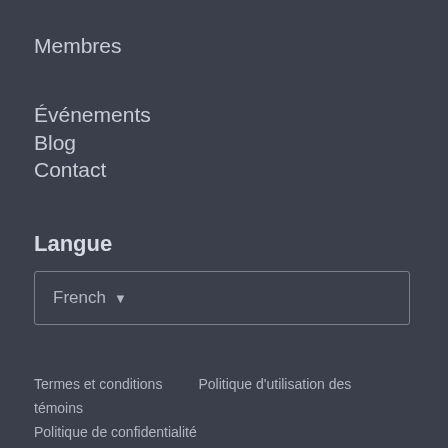Membres
Événements
Blog
Contact
Langue
French ▾
Termes et conditions    Politique d'utilisation des témoins
Politique de confidentialité
2022 © LawWorks. Tous droits réservés.